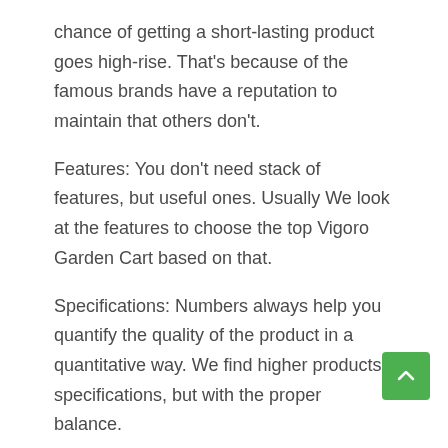chance of getting a short-lasting product goes high-rise. That's because of the famous brands have a reputation to maintain that others don't.
Features: You don't need stack of features, but useful ones. Usually We look at the features to choose the top Vigoro Garden Cart based on that.
Specifications: Numbers always help you quantify the quality of the product in a quantitative way. We find higher products specifications, but with the proper balance.
Customer Ratings: The thausend of customers using the Vigoro Garden Cart before you won't say wrong, would they? Better ratings means better product experience much number of people.